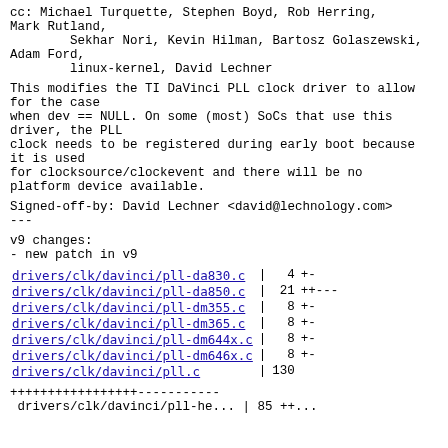cc: Michael Turquette, Stephen Boyd, Rob Herring,
Mark Rutland,
        Sekhar Nori, Kevin Hilman, Bartosz Golaszewski,
Adam Ford,
        linux-kernel, David Lechner
This modifies the TI DaVinci PLL clock driver to allow
for the case
when dev == NULL. On some (most) SoCs that use this
driver, the PLL
clock needs to be registered during early boot because
it is used
for clocksource/clockevent and there will be no
platform device available.
Signed-off-by: David Lechner <david@lechnology.com>
---
v9 changes:
- new patch in v9
| File | | | Count | Changes |
| --- | --- | --- | --- |
| drivers/clk/davinci/pll-da830.c | | | 4 | +- |
| drivers/clk/davinci/pll-da850.c | | | 21 | ++--- |
| drivers/clk/davinci/pll-dm355.c | | | 8 | +- |
| drivers/clk/davinci/pll-dm365.c | | | 8 | +- |
| drivers/clk/davinci/pll-dm644x.c | | | 8 | +- |
| drivers/clk/davinci/pll-dm646x.c | | | 8 | +- |
| drivers/clk/davinci/pll.c | | | 130 |  |
+++++++++++++++++-----------
 drivers/clk/davinci/pll-he... | 85 ++...